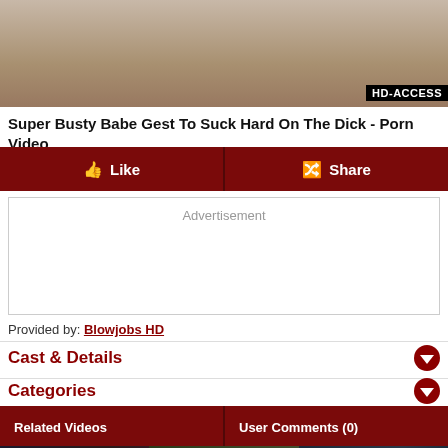[Figure (screenshot): Video thumbnail with HD-ACCESS watermark in bottom right corner]
Super Busty Babe Gest To Suck Hard On The Dick - Porn Video
Like | Share buttons
Advertisement
Provided by: Blowjobs HD
Cast & Details
Categories
Related Videos | User Comments (0)
[Figure (photo): Three related video thumbnails at the bottom]